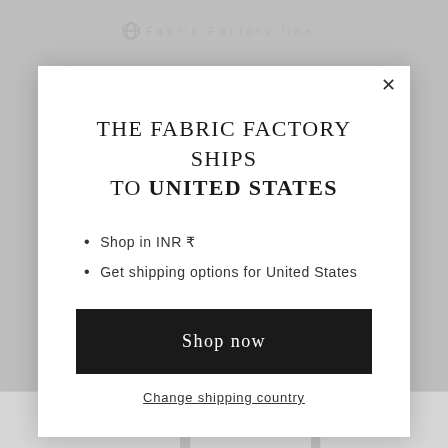[Figure (screenshot): Background of a webpage showing a dimmed e-commerce page with a USD currency selector and price row at the bottom.]
THE FABRIC FACTORY SHIPS TO UNITED STATES
Shop in INR ₹
Get shipping options for United States
Shop now
Change shipping country